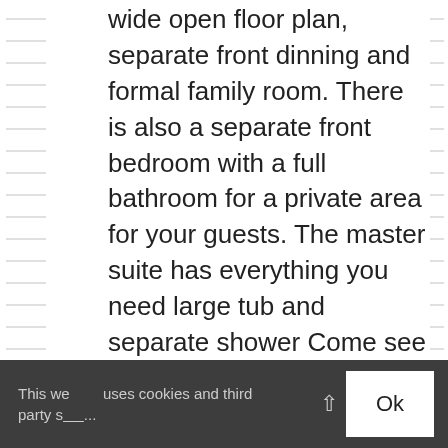wide open floor plan, separate front dinning and formal family room. There is also a separate front bedroom with a full bathroom for a private area for your guests. The master suite has everything you need large tub and separate shower Come see for yourself!!
[Figure (other): Row of social share buttons: share (green), Facebook (blue), Twitter (light blue), LinkedIn (dark blue), Pinterest (red), email (gray), SMS (yellow/orange)]
Add to Favorites
This we uses cookies and third party s...
Ok